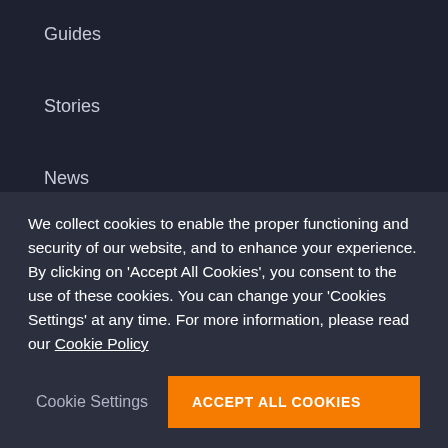Guides
Stories
News
Resources
Customer Stories
Business Cost Calculator
Browse
We collect cookies to enable the proper functioning and security of our website, and to enhance your experience. By clicking on 'Accept All Cookies', you consent to the use of these cookies. You can change your 'Cookies Settings' at any time. For more information, please read our Cookie Policy
Freelance Services
Freelance Services By Country